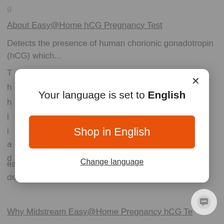About Easy@Home hCG Pregnancy Test
Detects the presence of human chorionic gonadotropin (hCG) which...
[Figure (screenshot): Language selection modal dialog with title 'Your language is set to English', an orange 'Shop in English' button, and a 'Change language' link. A close (X) button is in the top right corner.]
early and your hormone level already rise up, it may detect pregnancy days before your missed period
Why Midstream Easy@Home Pregnancy hCG Te...